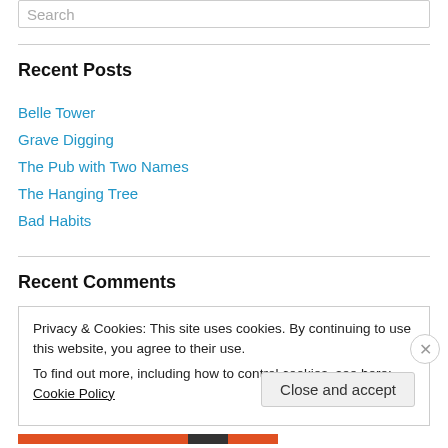Recent Posts
Belle Tower
Grave Digging
The Pub with Two Names
The Hanging Tree
Bad Habits
Recent Comments
Privacy & Cookies: This site uses cookies. By continuing to use this website, you agree to their use.
To find out more, including how to control cookies, see here: Cookie Policy